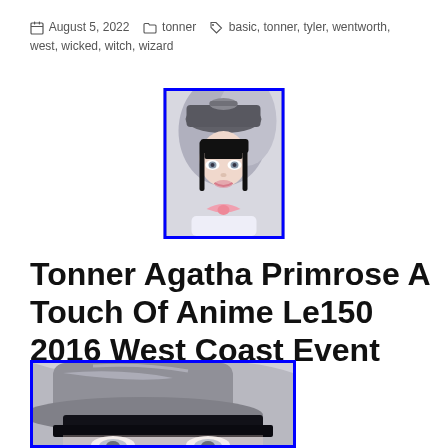August 5, 2022  tonner  basic, tonner, tyler, wentworth, west, wicked, witch, wizard
[Figure (photo): Small thumbnail photo of a Tonner doll with black hair, gray cap, and pink bow/collar outfit, shown from shoulders up. Blue border around image.]
Tonner Agatha Primrose A Touch Of Anime Le150 2016 West Coast Event Nib 13 Doll
[Figure (photo): Close-up photo of a Tonner doll's face and silver/gray cap, with black bangs visible and gray eyes. Blue border around image. Image is cropped at bottom of page.]